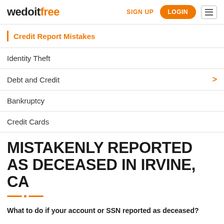wedoitfree | SIGN UP | LOGIN
Credit Report Mistakes
Identity Theft
Debt and Credit
Bankruptcy
Credit Cards
MISTAKENLY REPORTED AS DECEASED IN IRVINE, CA
What to do if your account or SSN reported as deceased?